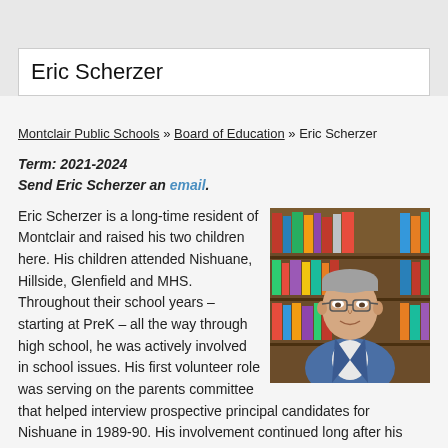Eric Scherzer
Montclair Public Schools » Board of Education » Eric Scherzer
Term: 2021-2024
Send Eric Scherzer an email.
Eric Scherzer is a long-time resident of Montclair and raised his two children here. His children attended Nishuane, Hillside, Glenfield and MHS. Throughout their school years – starting at PreK – all the way through high school, he was actively involved in school issues. His first volunteer role was serving on the parents committee that helped interview prospective principal candidates for Nishuane in 1989-90. His involvement continued long after his children
[Figure (photo): Headshot of Eric Scherzer, an older man with gray hair and glasses, wearing a blue blazer, smiling, with bookshelves in the background.]